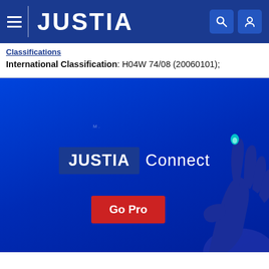JUSTIA
Classifications
International Classification: H04W 74/08 (20060101);
[Figure (screenshot): Justia Connect advertisement banner with dark blue background, 'JUSTIA Connect' logo in center, a hand illustration on the right, and a red 'Go Pro' button at bottom left]